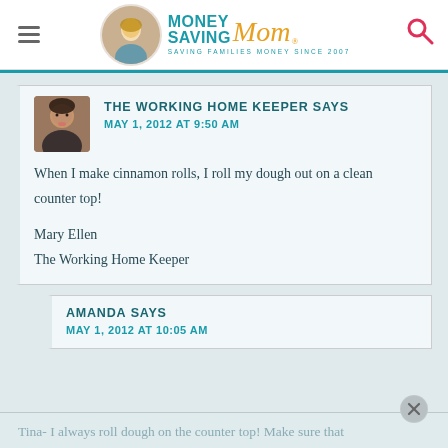Money Saving Mom® — SAVING FAMILIES MONEY SINCE 2007
THE WORKING HOME KEEPER SAYS
MAY 1, 2012 AT 9:50 AM

When I make cinnamon rolls, I roll my dough out on a clean counter top!

Mary Ellen
The Working Home Keeper
AMANDA SAYS
MAY 1, 2012 AT 10:05 AM
Tina- I always roll dough on the counter top! Make sure that